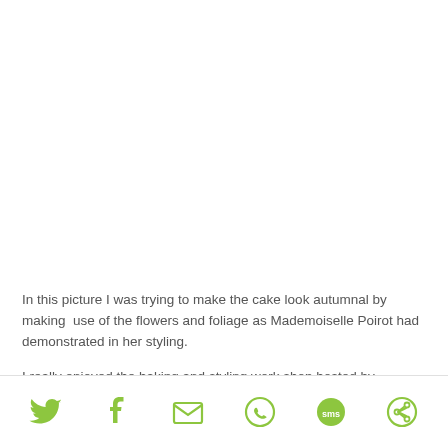In this picture I was trying to make the cake look autumnal by making  use of the flowers and foliage as Mademoiselle Poirot had demonstrated in her styling.
I really enjoyed the baking and styling work shop hosted by
[Figure (infographic): Social media share bar with icons for Twitter, Facebook, Email, WhatsApp, SMS, and More/share]